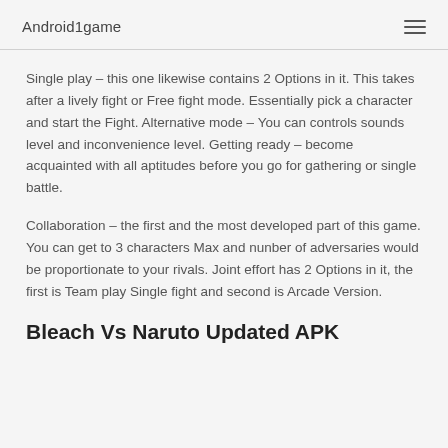Android1game
Single play – this one likewise contains 2 Options in it. This takes after a lively fight or Free fight mode. Essentially pick a character and start the Fight. Alternative mode – You can controls sounds level and inconvenience level. Getting ready – become acquainted with all aptitudes before you go for gathering or single battle.
Collaboration – the first and the most developed part of this game. You can get to 3 characters Max and nunber of adversaries would be proportionate to your rivals. Joint effort has 2 Options in it, the first is Team play Single fight and second is Arcade Version.
Bleach Vs Naruto Updated APK